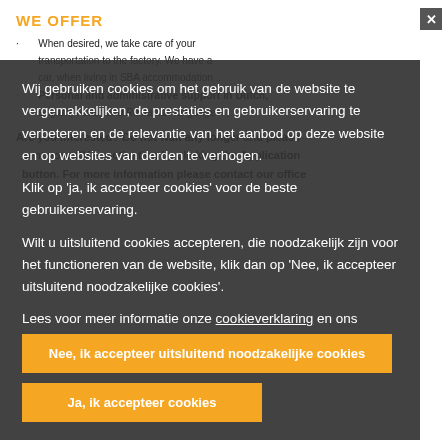WE OFFER
When desired, we take care of your transportation to the factory. We have a car, when living in SBA accommodation...
Personal and administrative support in Dutch, English, Polish and Romanian language
Are you interested? Do not wait any longer and please sent your CV + motivation by clicking the Application button. For more information please contact our office
Salans   € 10,81 + € 0,60
Wij gebruiken cookies om het gebruik van de website te vergemakkelijken, de prestaties en gebruikerservaring te verbeteren en de relevantie van het aanbod op deze website en op websites van derden te verhogen.
Klik op 'ja, ik accepteer cookies' voor de beste gebruikerservaring.
Wilt u uitsluitend cookies accepteren, die noodzakelijk zijn voor het functioneren van de website, klik dan op 'Nee, ik accepteer uitsluitend noodzakelijke cookies'.
Lees voor meer informatie onze cookieverklaring en ons privacystatement.
Nee, ik accepteer uitsluitend noodzakelijke cookies
Ja, ik accepteer cookies